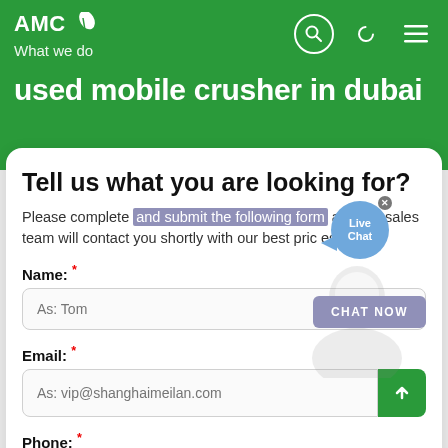AMC — What we do
used mobile crusher in dubai
Tell us what you are looking for?
Please complete and submit the following form and our sales team will contact you shortly with our best prices.
Name: *
As: Tom
Email: *
As: vip@shanghaimeilan.com
Phone: *
With Country Code